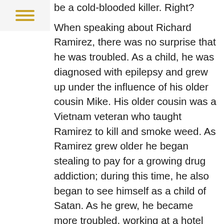[Figure (other): Hamburger menu icon with three horizontal golden/yellow lines on a light grey background]
be a cold-blooded killer. Right?
When speaking about Richard Ramirez, there was no surprise that he was troubled. As a child, he was diagnosed with epilepsy and grew up under the influence of his older cousin Mike. His older cousin was a Vietnam veteran who taught Ramirez to kill and smoke weed. As Ramirez grew older he began stealing to pay for a growing drug addiction; during this time, he also began to see himself as a child of Satan. As he grew, he became more troubled, working at a hotel and then being fired for trying to rape a woman in her room. He was sixteen at that time, though Ramirez was not found guilty because the Judge felt he had been lured into sex rather than the one to force it.8
After dropping out of high school, Ramirez, at the age of eighteen, moved to California and